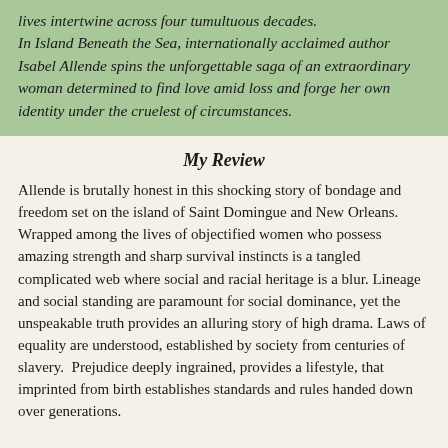lives intertwine across four tumultuous decades. In Island Beneath the Sea, internationally acclaimed author Isabel Allende spins the unforgettable saga of an extraordinary woman determined to find love amid loss and forge her own identity under the cruelest of circumstances.
My Review
Allende is brutally honest in this shocking story of bondage and freedom set on the island of Saint Domingue and New Orleans. Wrapped among the lives of objectified women who possess amazing strength and sharp survival instincts is a tangled complicated web where social and racial heritage is a blur. Lineage and social standing are paramount for social dominance, yet the unspeakable truth provides an alluring story of high drama. Laws of equality are understood, established by society from centuries of slavery.  Prejudice deeply ingrained, provides a lifestyle, that imprinted from birth establishes standards and rules handed down over generations.
Passionately told this novel has multi-layers that will entice and engage the reader. Allende's vibrant soulful characters both vile and dear are memorable.  Allende has always been one of my